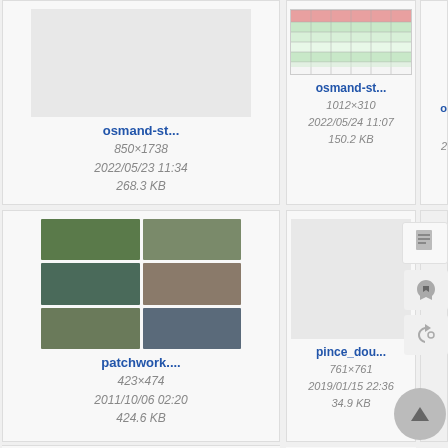[Figure (screenshot): File browser grid showing image thumbnails with filenames, dimensions, dates, and file sizes]
osmand-st...
850×1738
2022/05/23 11:34
268.3 KB
osmand-st...
1012×310
2022/05/24 11:07
150.2 KB
patchwork....
423×474
2011/10/06 02:20
424.6 KB
pince_dou...
761×761
2019/01/15 22:36
34.9 KB